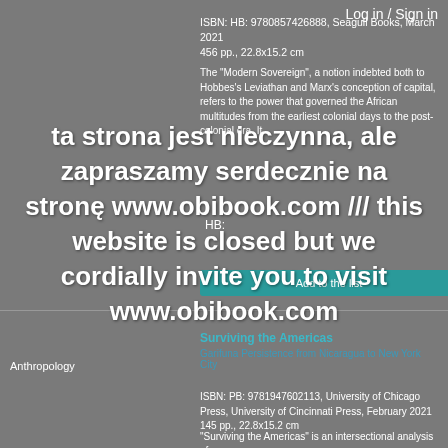Log in / Sign in
ISBN: HB: 9780857426888, Seagull Books, March 2021
456 pp., 22.8x15.2 cm
The "Modern Sovereign", a notion indebted both to Hobbes's Leviathan and Marx's conception of capital, refers to the power that governed the African multitudes from the earliest colonial days to the post-colonial era. It
HB:
Add to the list
Surviving the Americas
Garifuna Persistence from Nicaragua to New York City
Anthropology
ISBN: PB: 9781947602113, University of Chicago Press, University of Cincinnati Press, February 2021
145 pp., 22.8x15.2 cm
"Surviving the Americas" is an intersectional analysis of
[Figure (screenshot): Overlay message in Polish and English: 'ta strona jest nieczynna, ale zapraszamy serdecznie na stronę www.obibook.com /// this website is closed but we cordially invite you to visit www.obibook.com']